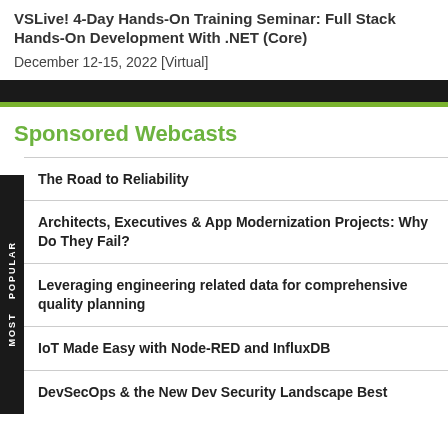VSLive! 4-Day Hands-On Training Seminar: Full Stack Hands-On Development With .NET (Core)
December 12-15, 2022 [Virtual]
Sponsored Webcasts
The Road to Reliability
Architects, Executives & App Modernization Projects: Why Do They Fail?
Leveraging engineering related data for comprehensive quality planning
IoT Made Easy with Node-RED and InfluxDB
DevSecOps & the New Dev Security Landscape Best